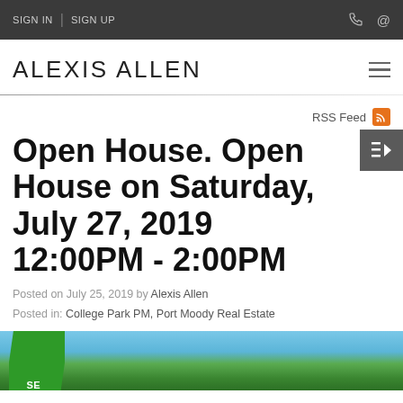SIGN IN | SIGN UP
ALEXIS ALLEN
RSS Feed
Open House. Open House on Saturday, July 27, 2019 12:00PM - 2:00PM
Posted on July 25, 2019 by Alexis Allen
Posted in: College Park PM, Port Moody Real Estate
[Figure (photo): Outdoor photo showing trees against blue sky with a green banner/badge in the lower left corner]